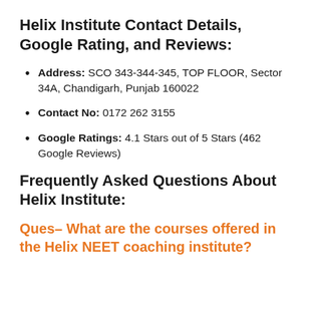Helix Institute Contact Details, Google Rating, and Reviews:
Address: SCO 343-344-345, TOP FLOOR, Sector 34A, Chandigarh, Punjab 160022
Contact No: 0172 262 3155
Google Ratings: 4.1 Stars out of 5 Stars (462 Google Reviews)
Frequently Asked Questions About Helix Institute:
Ques– What are the courses offered in the Helix NEET coaching institute?